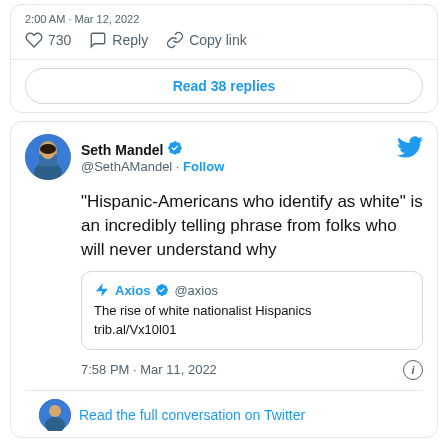2:00 AM · Mar 12, 2022
♡ 730   Reply   Copy link
Read 38 replies
Seth Mandel @SethAMandel · Follow
"Hispanic-Americans who identify as white" is an incredibly telling phrase from folks who will never understand why
Axios @axios — The rise of white nationalist Hispanics trib.al/Vx10l01
7:58 PM · Mar 11, 2022
Read the full conversation on Twitter